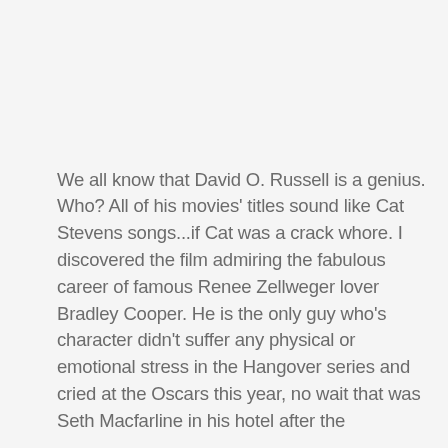We all know that David O. Russell is a genius. Who? All of his movies' titles sound like Cat Stevens songs...if Cat was a crack whore. I discovered the film admiring the fabulous career of famous Renee Zellweger lover Bradley Cooper. He is the only guy who's character didn't suffer any physical or emotional stress in the Hangover series and cried at the Oscars this year, no wait that was Seth Macfarline in his hotel after the